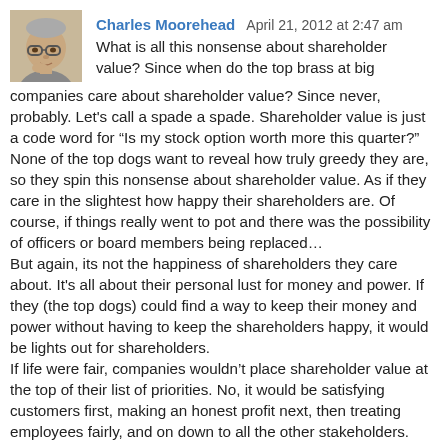[Figure (photo): Avatar photo of Charles Moorehead, an older man with glasses]
Charles Moorehead  April 21, 2012 at 2:47 am
What is all this nonsense about shareholder value? Since when do the top brass at big companies care about shareholder value? Since never, probably. Let's call a spade a spade. Shareholder value is just a code word for “Is my stock option worth more this quarter?"
None of the top dogs want to reveal how truly greedy they are, so they spin this nonsense about shareholder value. As if they care in the slightest how happy their shareholders are. Of course, if things really went to pot and there was the possibility of officers or board members being replaced…
But again, its not the happiness of shareholders they care about. It's all about their personal lust for money and power. If they (the top dogs) could find a way to keep their money and power without having to keep the shareholders happy, it would be lights out for shareholders.
If life were fair, companies wouldn’t place shareholder value at the top of their list of priorities. No, it would be satisfying customers first, making an honest profit next, then treating employees fairly, and on down to all the other stakeholders.